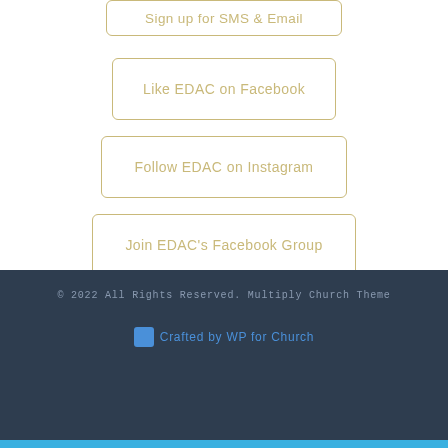Sign up for SMS & Email
Like EDAC on Facebook
Follow EDAC on Instagram
Join EDAC's Facebook Group
© 2022 All Rights Reserved. Multiply Church Theme
[Figure (logo): Crafted by WP for Church logo/link]